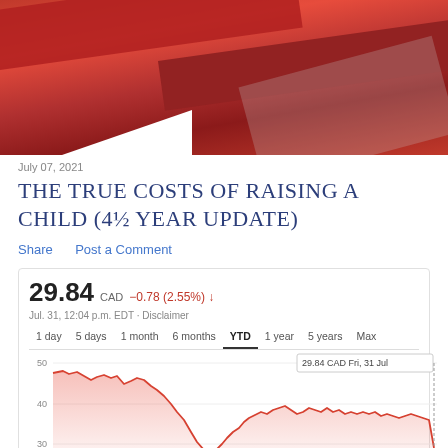[Figure (photo): Abstract red geometric sculpture or structure, close-up photo with red beams and a light-colored background visible through openings]
July 07, 2021
THE TRUE COSTS OF RAISING A CHILD (4½ YEAR UPDATE)
Share   Post a Comment
[Figure (continuous-plot): Stock price chart showing YTD performance. Price: 29.84 CAD, -0.78 (2.55%). Time period from Jan 2020 to Jul 31, showing decline from ~46 to low of ~22 around Apr 2020, then recovery to ~29.84. Tooltip shows 29.84 CAD, Fri, 31 Jul.]
July 31, 2020